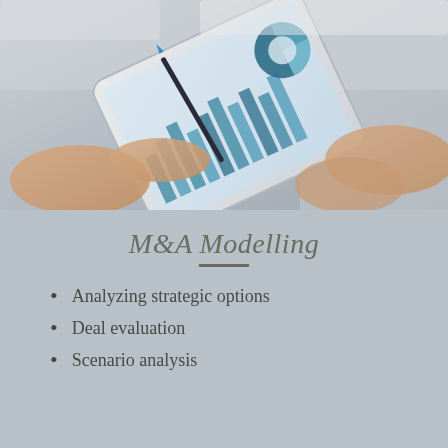[Figure (photo): Two people reviewing charts and graphs on a tablet device, with a pen pointing at the screen showing bar charts and a pie/donut chart. Business/financial analysis context.]
M&A Modelling
Analyzing strategic options
Deal evaluation
Scenario analysis